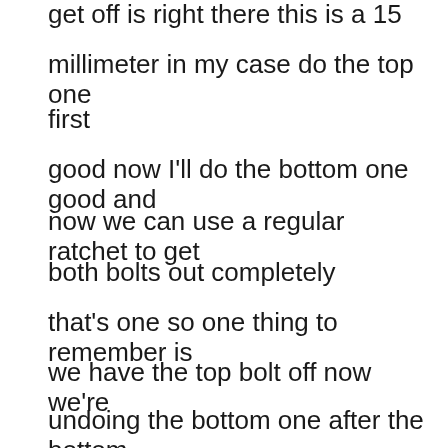get off is right there this is a 15
millimeter in my case do the top one
first
good now I'll do the bottom one good and
now we can use a regular ratchet to get
both bolts out completely
that's one so one thing to remember is
we have the top bolt off now we're
undoing the bottom one after the bottom
one there's nothing to hold this up so